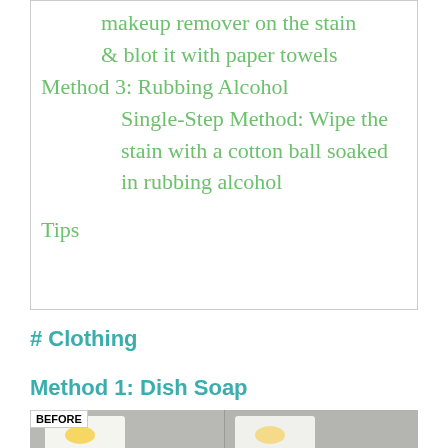makeup remover on the stain & blot it with paper towels Method 3: Rubbing Alcohol Single-Step Method: Wipe the stain with a cotton ball soaked in rubbing alcohol Tips
# Clothing
Method 1: Dish Soap
[Figure (photo): Before and after photo of white clothing with stains, showing BEFORE label on left half]